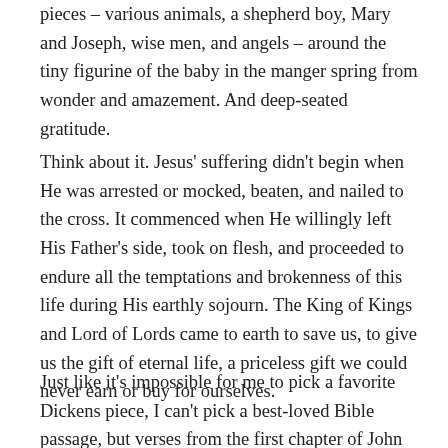pieces – various animals, a shepherd boy, Mary and Joseph, wise men, and angels – around the tiny figurine of the baby in the manger spring from wonder and amazement. And deep-seated gratitude.
Think about it. Jesus' suffering didn't begin when He was arrested or mocked, beaten, and nailed to the cross. It commenced when He willingly left His Father's side, took on flesh, and proceeded to endure all the temptations and brokenness of this life during His earthly sojourn. The King of Kings and Lord of Lords came to earth to save us, to give us the gift of eternal life, a priceless gift we could never earn or buy for ourselves.
Just like it's impossible for me to pick a favorite Dickens piece, I can't pick a best-loved  Bible passage, but verses from the first chapter of John are near the top of the list: